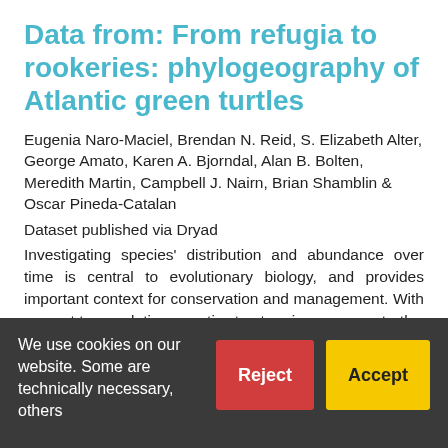Data from: From refugia to rookeries: phylogeography of Atlantic green turtles
Eugenia Naro-Maciel, Brendan N. Reid, S. Elizabeth Alter, George Amato, Karen A. Bjorndal, Alan B. Bolten, Meredith Martin, Campbell J. Nairn, Brian Shamblin & Oscar Pineda-Catalan
Dataset published via Dryad
Investigating species' distribution and abundance over time is central to evolutionary biology, and provides important context for conservation and management. With respect to population genetic structure in green sea turtles (Chelonia mydas), certain processes such as female philopatry to natal rookeries are well understood, while others, such as male philopatry and historical
We use cookies on our website. Some are technically necessary, others